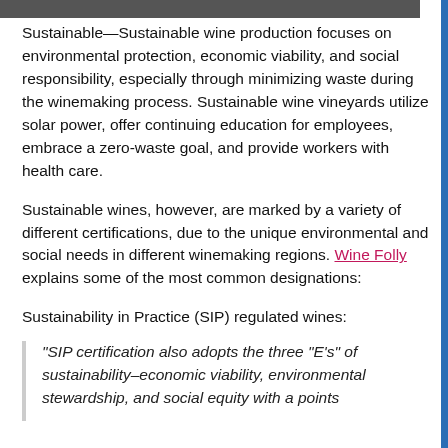[Figure (photo): Dark horizontal image bar at top of page]
Sustainable—Sustainable wine production focuses on environmental protection, economic viability, and social responsibility, especially through minimizing waste during the winemaking process. Sustainable wine vineyards utilize solar power, offer continuing education for employees, embrace a zero-waste goal, and provide workers with health care.
Sustainable wines, however, are marked by a variety of different certifications, due to the unique environmental and social needs in different winemaking regions. Wine Folly explains some of the most common designations:
Sustainability in Practice (SIP) regulated wines:
“SIP certification also adopts the three “E’s” of sustainability–economic viability, environmental stewardship, and social equity with a points